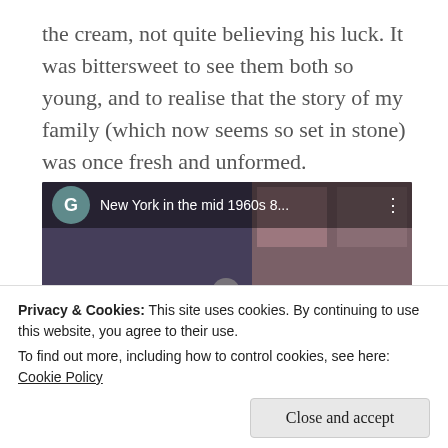the cream, not quite believing his luck. It was bittersweet to see them both so young, and to realise that the story of my family (which now seems so set in stone) was once fresh and unformed.
[Figure (screenshot): Embedded YouTube video player showing 'New York in the mid 1960s 8...' with a Google 'G' icon, video title, three-dot menu, and a red play button overlay on a vintage street scene photo.]
Privacy & Cookies: This site uses cookies. By continuing to use this website, you agree to their use.
To find out more, including how to control cookies, see here: Cookie Policy
Close and accept